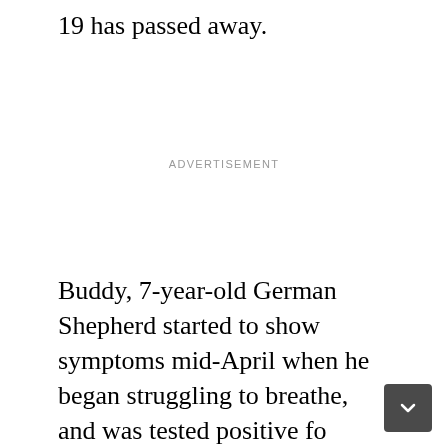19 has passed away.
ADVERTISEMENT
Buddy, 7-year-old German Shepherd started to show symptoms mid-April when he began struggling to breathe, and was tested positive fo